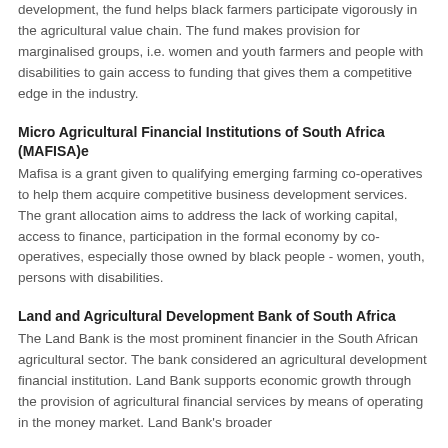development, the fund helps black farmers participate vigorously in the agricultural value chain. The fund makes provision for marginalised groups, i.e. women and youth farmers and people with disabilities to gain access to funding that gives them a competitive edge in the industry.
Micro Agricultural Financial Institutions of South Africa (MAFISA)e
Mafisa is a grant given to qualifying emerging farming co-operatives to help them acquire competitive business development services. The grant allocation aims to address the lack of working capital, access to finance, participation in the formal economy by co-operatives, especially those owned by black people - women, youth, persons with disabilities.
Land and Agricultural Development Bank of South Africa
The Land Bank is the most prominent financier in the South African agricultural sector. The bank considered an agricultural development financial institution. Land Bank supports economic growth through the provision of agricultural financial services by means of operating in the money market. Land Bank's broader